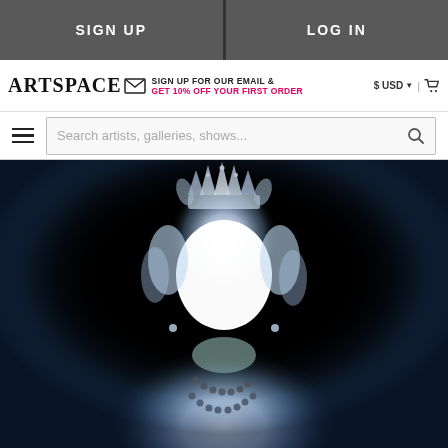SIGN UP | LOG IN
ARTSPACE — SIGN UP FOR OUR EMAIL & GET 10% OFF YOUR FIRST ORDER — $ USD | cart
Search artists, galleries, shows...
[Figure (photo): Overexposed photographic portrait of a person wearing a crown and pearl necklace against a black background, face area glowing brilliant white with blue-tinted light blur around the figure.]